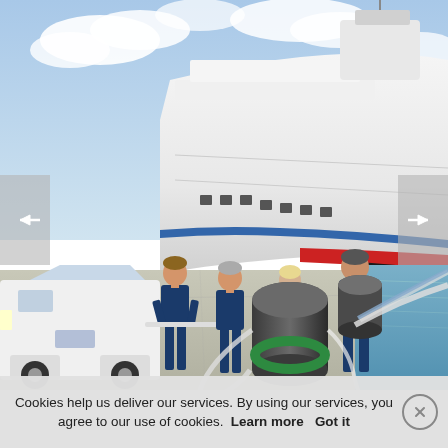[Figure (photo): Workers in navy blue overalls standing on a dock beside a large white cruise ship with blue and red markings (AIDA). A white van is parked on the left. Large mooring bollards with ropes are visible in the foreground. The sky is partly cloudy.]
Cookies help us deliver our services. By using our services, you agree to our use of cookies.  Learn more   Got it